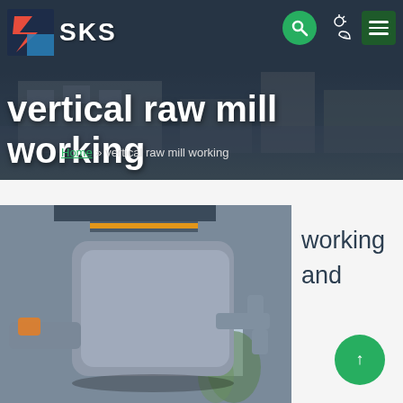[Figure (screenshot): Website header banner showing a building in the background with dark overlay. SKS logo top left, search and menu icons top right.]
vertical raw mill working
Home » vertical raw mill working
[Figure (photo): Close-up photo of vertical raw mill grinding roller/table component in industrial setting with windows in background.]
working
and